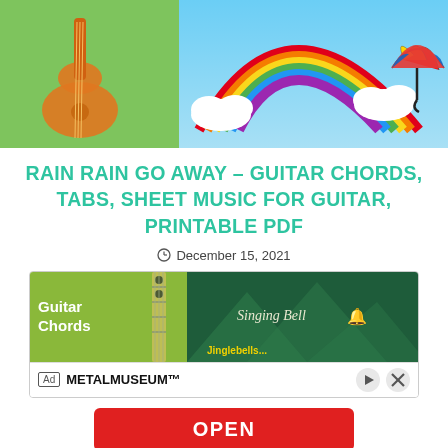[Figure (illustration): Hero image split into two panels: left panel shows a green background with an orange guitar silhouette; right panel shows a blue sky with a colorful rainbow, white clouds, and a rainbow-colored umbrella.]
RAIN RAIN GO AWAY – GUITAR CHORDS, TABS, SHEET MUSIC FOR GUITAR, PRINTABLE PDF
December 15, 2021
[Figure (screenshot): Advertisement banner showing Guitar Chords on the left panel with green background and a guitar neck, and Singing Bell logo on the right with dark green background. Below: Ad label, METALMUSEUM™ text, close/play buttons, and a red OPEN button.]